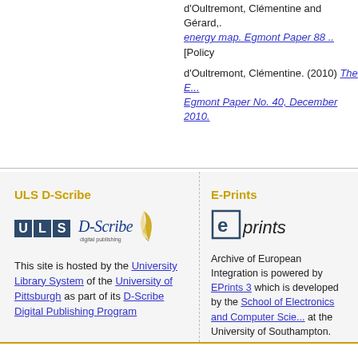d'Oultremont, Clémentine and Gérard,. energy map. Egmont Paper 88 .. [Policy... d'Oultremont, Clémentine. (2010) The E... Egmont Paper No. 40, December 2010.
ULS D-Scribe
[Figure (logo): ULS D-Scribe logo: blue ULS letter boxes and D-Scribe digital publishing signature with feather quill]
This site is hosted by the University Library System of the University of Pittsburgh as part of its D-Scribe Digital Publishing Program
E-Prints
[Figure (logo): EPrints logo: stylized e in a box followed by 'prints' in italic]
Archive of European Integration is powered by EPrints 3 which is developed by the School of Electronics and Computer Science at the University of Southampton. More information and software credits.